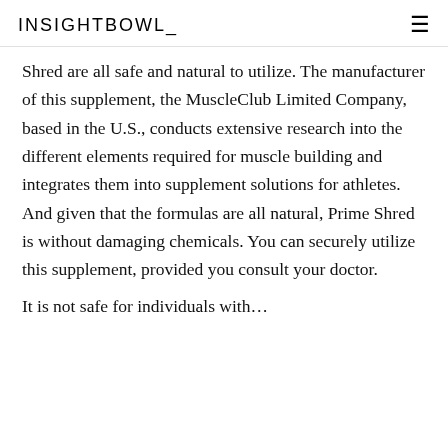INSIGHTBOWL
Shred are all safe and natural to utilize. The manufacturer of this supplement, the MuscleClub Limited Company, based in the U.S., conducts extensive research into the different elements required for muscle building and integrates them into supplement solutions for athletes. And given that the formulas are all natural, Prime Shred is without damaging chemicals. You can securely utilize this supplement, provided you consult your doctor.
It is not safe for individuals with…